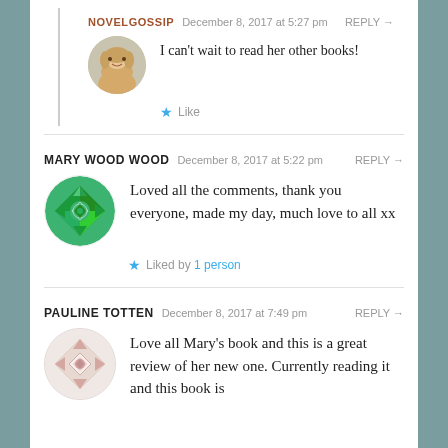NOVELGOSSIP   December 8, 2017 at 5:27 pm   REPLY →
I can't wait to read her other books!
Like
MARY WOOD WOOD   December 8, 2017 at 5:22 pm   REPLY →
Loved all the comments, thank you everyone, made my day, much love to all xx
Liked by 1 person
PAULINE TOTTEN   December 8, 2017 at 7:49 pm   REPLY →
Love all Mary's book and this is a great review of her new one. Currently reading it and this book is